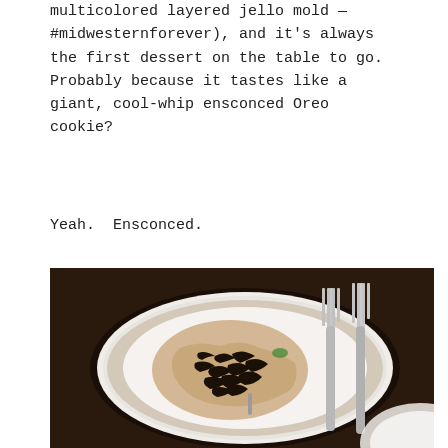multicolored layered jello mold — #midwesternforever), and it's always the first dessert on the table to go.  Probably because it tastes like a giant, cool-whip ensconced Oreo cookie?
Yeah.  Ensconced.
[Figure (photo): Overhead photo of a white decorative plate with a slice of Oreo cookie dessert (creamy filling with dark cookie crumbles), served with two silver forks on a dark wooden table. A partial white plate is visible at the bottom right.]